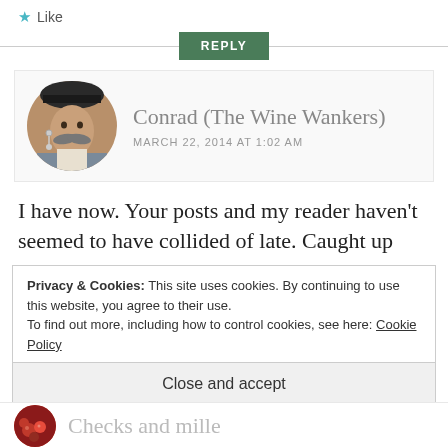★ Like
REPLY
[Figure (photo): Circular avatar photo of Conrad, a man with a large mustache wearing a hat and earrings]
Conrad (The Wine Wankers)
MARCH 22, 2014 AT 1:02 AM
I have now. Your posts and my reader haven't seemed to have collided of late. Caught up
Privacy & Cookies: This site uses cookies. By continuing to use this website, you agree to their use.
To find out more, including how to control cookies, see here: Cookie Policy
Close and accept
[Figure (photo): Partial circular avatar showing red berries/cherries, with partial text visible]